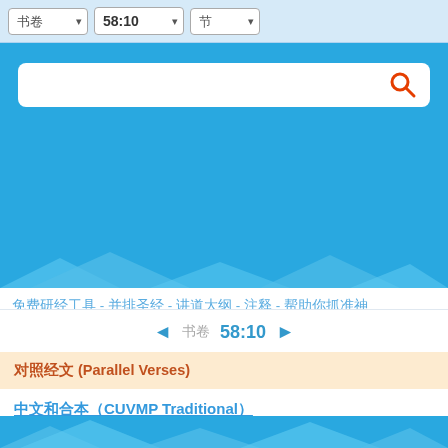书卷 ▾  58:10 ▾  节 ▾
[Figure (screenshot): Blue search area with white search input box and red search icon button]
免费研经工具 - 并排圣经 - 讲道大纲 - 注释 - 帮助你抓准神
◄ 书卷 58:10 ►
对照经文 (Parallel Verses)
中文和合本（CUVMP Traditional）
（这里显示对应经文内容）